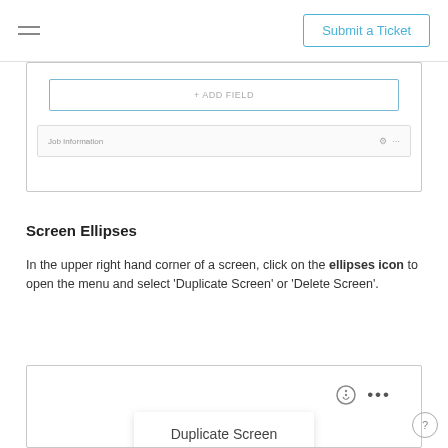Submit a Ticket
[Figure (screenshot): UI screenshot showing an '+ ADD FIELD' button and a 'Job Information' row with gear and ellipsis icons]
Screen Ellipses
In the upper right hand corner of a screen, click on the ellipses icon to open the menu and select 'Duplicate Screen' or 'Delete Screen'.
[Figure (screenshot): UI screenshot showing gear and ellipsis icons in top-right, and a dropdown menu with 'Duplicate Screen' option]